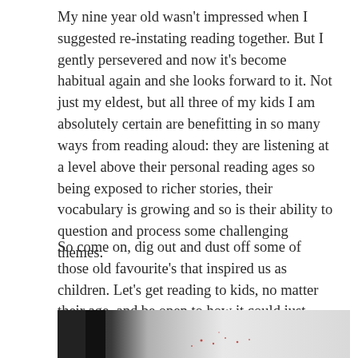My nine year old wasn't impressed when I suggested re-instating reading together. But I gently persevered and now it's become habitual again and she looks forward to it. Not just my eldest, but all three of my kids I am absolutely certain are benefitting in so many ways from reading aloud: they are listening at a level above their personal reading ages so being exposed to richer stories, their vocabulary is growing and so is their ability to question and process some challenging themes.
So come on, dig out and dust off some of those old favourite's that inspired us as children. Let's get reading to kids, no matter their age, and be open to how it could just transform us as well.
[Figure (photo): A close-up photo of what appears to be an open book or white surface with some small red dots/specks visible, dark blurred elements on the left side.]